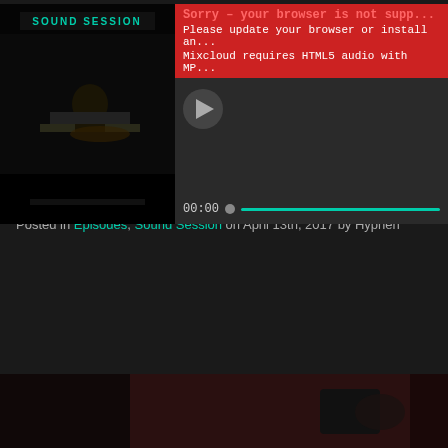[Figure (screenshot): Mixcloud audio player with thumbnail of DJ at turntables, error banner in red saying browser not supported, play button, and 00:00 progress bar]
Download – https://drive.google.com/open?id=0B72U-rgJjvmWX0dOempLM...
If you'd like to be added to our weekly email list to receive the playlist for the show, just shoot me an email, DJHyphen@gmail.com.
Tags: 104, 93, desiigner, dj hyphen, dj nphared, hip-hop, j. moore, Kube, mi... snoop dogg, Sound Session, sunday night, tacoma, watercolor
Leave A Comment »
Sound Session #590 (4/9/17) – Co-hosted by DJ... Malice & Mario Sweet
Posted in Episodes, Sound Session on April 13th, 2017 by Hyphen
[Figure (photo): Dark reddish thumbnail image at bottom of page]